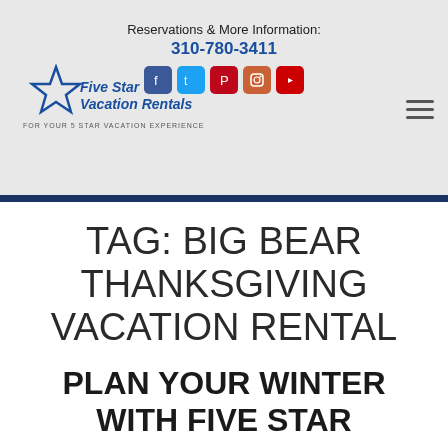Reservations & More Information:
310-780-3411
[Figure (logo): Five Star Vacation Rentals logo with star graphic and tagline FOR YOUR 5 STAR VACATION EXPERIENCE, plus social media icons for Facebook, Twitter, Pinterest, Instagram, YouTube]
TAG: BIG BEAR THANKSGIVING VACATION RENTAL
PLAN YOUR WINTER WITH FIVE STAR